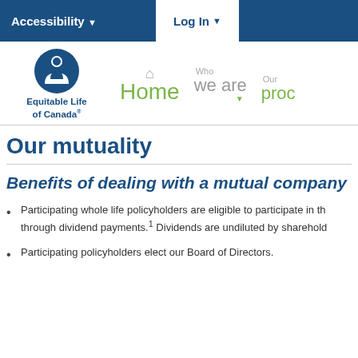Accessibility ▼   Log In ▼
[Figure (logo): Equitable Life of Canada logo with circular blue icon showing a person figure]
Our mutuality
Benefits of dealing with a mutual company
Participating whole life policyholders are eligible to participate in the through dividend payments.1 Dividends are undiluted by sharehold
Participating policyholders elect our Board of Directors.